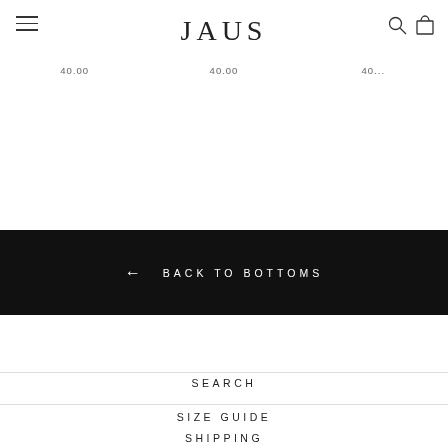JAUS
40.00  40.00  40...
← BACK TO BOTTOMS
SEARCH
SIZE GUIDE
SHIPPING